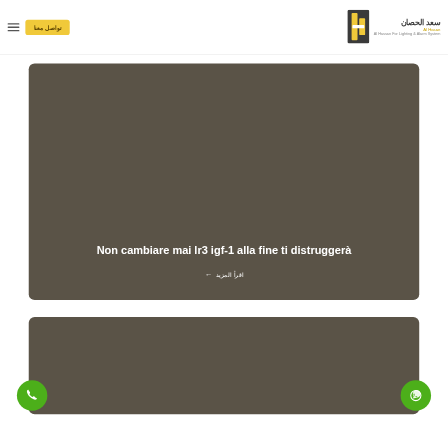سعد الحصان | Al Hassan For Lighting & Alarm System
[Figure (logo): Al Hassan company logo with yellow and dark vertical rectangle icon]
Non cambiare mai lr3 igf-1 alla fine ti distruggerà
اقرأ المزيد ←
[Figure (photo): Second content card with dark brown background, partially visible]